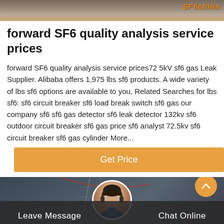[Figure (photo): Top banner image showing industrial/electrical infrastructure with orange brand text overlay reading 'SF6china']
forward SF6 quality analysis service prices
forward SF6 quality analysis service prices72 5kV sf6 gas Leak Supplier. Alibaba offers 1,975 lbs sf6 products. A wide variety of lbs sf6 options are available to you, Related Searches for lbs sf6: sf6 circuit breaker sf6 load break switch sf6 gas our company sf6 sf6 gas detector sf6 leak detector 132kv sf6 outdoor circuit breaker sf6 gas price sf6 analyst 72.5kv sf6 circuit breaker sf6 gas cylinder More...
[Figure (screenshot): Orange 'Get Price' button]
[Figure (photo): Bottom section with industrial electrical tower background, customer service avatar with headset in center circle, 'Leave Message' text on left, 'Chat Online' text on right, orange scroll-up button on right side]